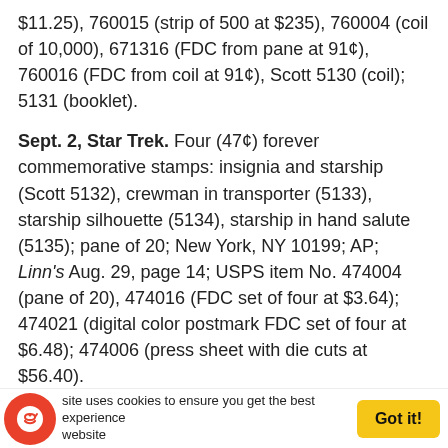$11.25), 760015 (strip of 500 at $235), 760004 (coil of 10,000), 671316 (FDC from pane at 91¢), 760016 (FDC from coil at 91¢), Scott 5130 (coil); 5131 (booklet).
Sept. 2, Star Trek. Four (47¢) forever commemorative stamps: insignia and starship (Scott 5132), crewman in transporter (5133), starship silhouette (5134), starship in hand salute (5135); pane of 20; New York, NY 10199; AP; Linn's Aug. 29, page 14; USPS item No. 474004 (pane of 20), 474016 (FDC set of four at $3.64); 474021 (digital color postmark FDC set of four at $6.48); 474006 (press sheet with die cuts at $56.40).
Sept. 24, Eastern Tailed-Blue Butterfly. One nondenominated (68¢) nonmachineable surcharge rate definitive stamp; pane of 20; Kansas City, MO 64108; AP; Linn's Oct. 3, page 16; USPS item No. 119504 (pane of 20); 119516 (FDC at $1.12), 119521 (digital color postmark FDC at $1.89); Scott 5198...
site uses cookies to ensure you get the best experience website